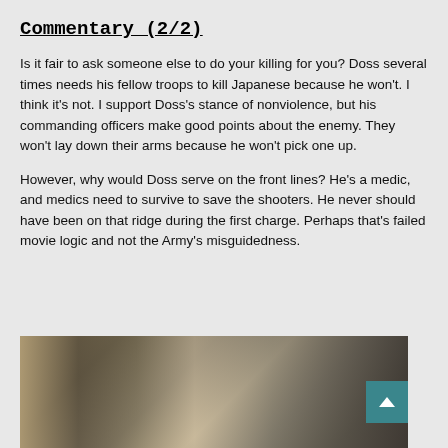Commentary (2/2)
Is it fair to ask someone else to do your killing for you? Doss several times needs his fellow troops to kill Japanese because he won't. I think it's not. I support Doss's stance of nonviolence, but his commanding officers make good points about the enemy. They won't lay down their arms because he won't pick one up.
However, why would Doss serve on the front lines? He's a medic, and medics need to survive to save the shooters. He never should have been on that ridge during the first charge. Perhaps that's failed movie logic and not the Army's misguidedness.
[Figure (photo): Movie still showing military personnel in uniform standing indoors, appearing to be in discussion or confrontation.]